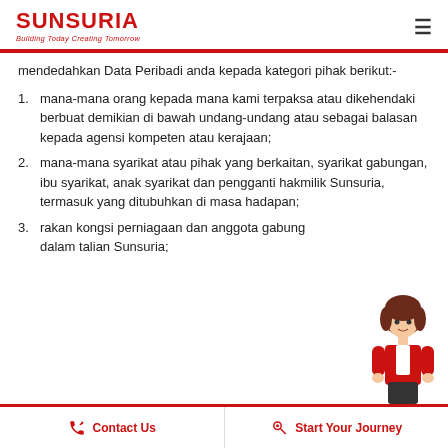SUNSURIA
Building Today Creating Tomorrow
mendedahkan Data Peribadi anda kepada kategori pihak berikut:-
mana-mana orang kepada mana kami terpaksa atau dikehendaki berbuat demikian di bawah undang-undang atau sebagai balasan kepada agensi kompeten atau kerajaan;
mana-mana syarikat atau pihak yang berkaitan, syarikat gabungan, ibu syarikat, anak syarikat dan pengganti hakmilik Sunsuria, termasuk yang ditubuhkan di masa hadapan;
rakan kongsi perniagaan dan anggota gabung dalam talian Sunsuria;
Contact Us   Start Your Journey